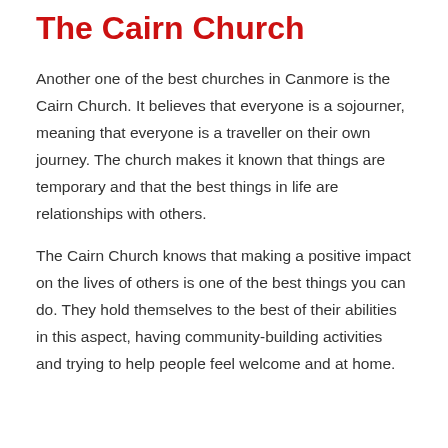The Cairn Church
Another one of the best churches in Canmore is the Cairn Church. It believes that everyone is a sojourner, meaning that everyone is a traveller on their own journey. The church makes it known that things are temporary and that the best things in life are relationships with others.
The Cairn Church knows that making a positive impact on the lives of others is one of the best things you can do. They hold themselves to the best of their abilities in this aspect, having community-building activities and trying to help people feel welcome and at home.